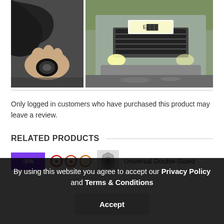[Figure (photo): Two side-by-side photos: left shows a hand holding a small black automotive part; right shows the front bumper area of a Renault SUV with a license plate partially blurred, parked on a wet surface.]
Only logged in customers who have purchased this product may leave a review.
RELATED PRODUCTS
[Figure (other): Product listing row showing a -5% purple badge, product thumbnails with red and orange icons, a bolt-shaped part image, and text 'Universal Double-Sided']
By using this website you agree to accept our Privacy Policy and Terms & Conditions